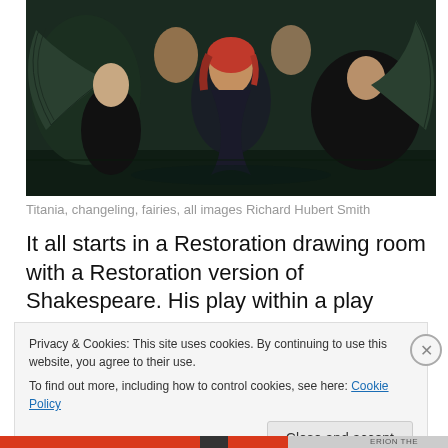[Figure (photo): Theatre stage photo showing Titania (woman with red hair in dark dress) being held by two men with large dark angel wings spread on either side. Other performers visible in background. Stage has dark, moody lighting with reflective floor.]
Titania, changeling, fairies, all images Richard Hubert Smith
It all starts in a Restoration drawing room with a Restoration version of Shakespeare. His play within a play
Privacy & Cookies: This site uses cookies. By continuing to use this website, you agree to their use.
To find out more, including how to control cookies, see here: Cookie Policy